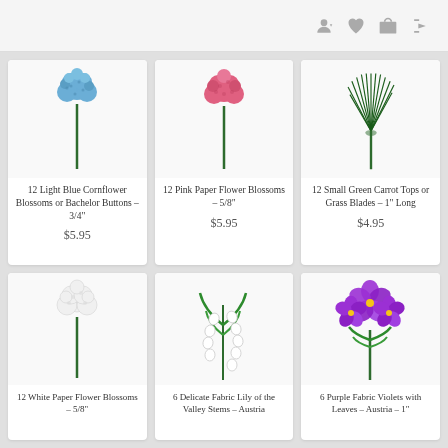Navigation icons: user account, wishlist, cart, share
[Figure (photo): 12 Light Blue Cornflower Blossoms or Bachelor Buttons – 3/4" product photo on white background]
12 Light Blue Cornflower Blossoms or Bachelor Buttons – 3/4"
$5.95
[Figure (photo): 12 Pink Paper Flower Blossoms – 5/8" product photo on white background]
12 Pink Paper Flower Blossoms – 5/8"
$5.95
[Figure (photo): 12 Small Green Carrot Tops or Grass Blades – 1" Long product photo on white background]
12 Small Green Carrot Tops or Grass Blades – 1" Long
$4.95
[Figure (photo): 12 White Paper Flower Blossoms – 5/8" product photo on white background]
12 White Paper Flower Blossoms – 5/8"
[Figure (photo): 6 Delicate Fabric Lily of the Valley Stems – Austria product photo on white background]
6 Delicate Fabric Lily of the Valley Stems – Austria
[Figure (photo): 6 Purple Fabric Violets with Leaves – Austria – 1" product photo on white background]
6 Purple Fabric Violets with Leaves – Austria – 1"